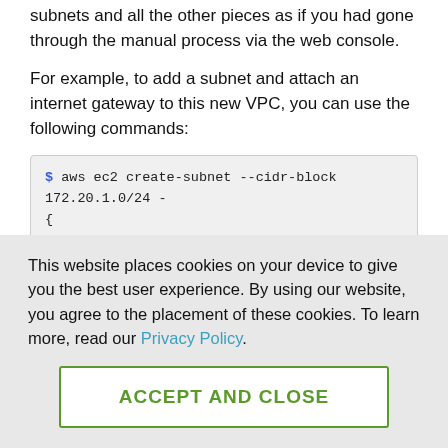subnets and all the other pieces as if you had gone through the manual process via the web console.
For example, to add a subnet and attach an internet gateway to this new VPC, you can use the following commands:
$ aws ec2 create-subnet --cidr-block 172.20.1.0/24 -
{
  "Subnet": {
  "AvailabilityZone": "us-west-1b",
  "AvailableIpAddressCount": 251,
  "DefaultForAz": false,
This website places cookies on your device to give you the best user experience. By using our website, you agree to the placement of these cookies. To learn more, read our Privacy Policy.
ACCEPT AND CLOSE